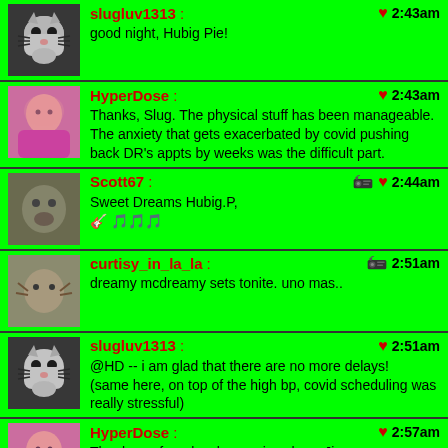slugluv1313: good night, Hubig Pie! 2:43am
HyperDose: Thanks, Slug. The physical stuff has been manageable. The anxiety that gets exacerbated by covid pushing back DR's appts by weeks was the difficult part. 2:43am
Scott67: Sweet Dreams Hubig.P, 🎸 🎵🎵🎵 2:44am
curtisy_in_la_la: dreamy mcdreamy sets tonite. uno mas.. 2:51am
slugluv1313: @HD -- i am glad that there are no more delays! (same here, on top of the high bp, covid scheduling was really stressful) 2:51am
HyperDose: Thank you for a lovely surprise show, Jim. You're a gem ☺ 2:57am